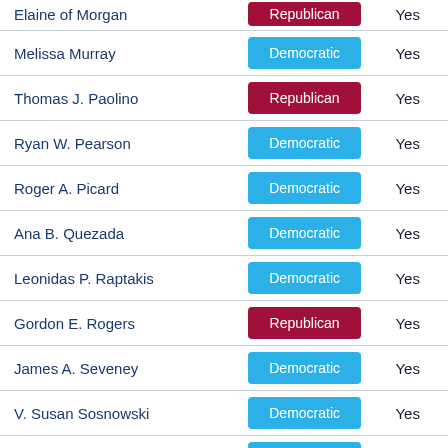| Name | Party | Vote |
| --- | --- | --- |
| Elaine of Morgan | Republican | Yes |
| Melissa Murray | Democratic | Yes |
| Thomas J. Paolino | Republican | Yes |
| Ryan W. Pearson | Democratic | Yes |
| Roger A. Picard | Democratic | Yes |
| Ana B. Quezada | Democratic | Yes |
| Leonidas P. Raptakis | Democratic | Yes |
| Gordon E. Rogers | Republican | Yes |
| James A. Seveney | Democratic | Yes |
| V. Susan Sosnowski | Democratic | Yes |
| Bridget Valverde | Democratic | Yes |